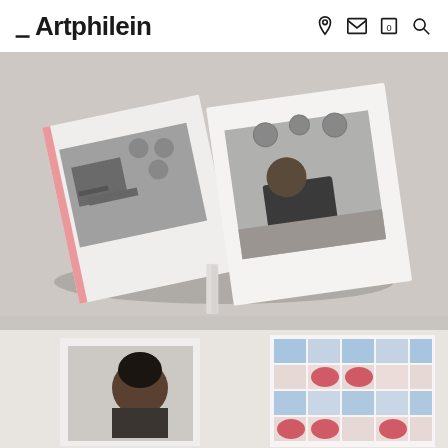≡ Artphilein
[Figure (photo): An open art book photographed from above on a light gray surface. The book is spread open showing two black-and-white photographs. The left page shows an interior scene with circular suspended objects and what appears to be furniture. The right page shows a similar interior with a person seated in a dark jacket. The book spine reveals pink/red colored pages.]
[Figure (photo): Bottom portion of what appears to be an art gallery or exhibition display. On the left side is a framed photograph showing a person with head bowed. On the right side is a colorful textile or artwork with a blue and red pattern featuring floral or circular motifs arranged in a grid pattern.]